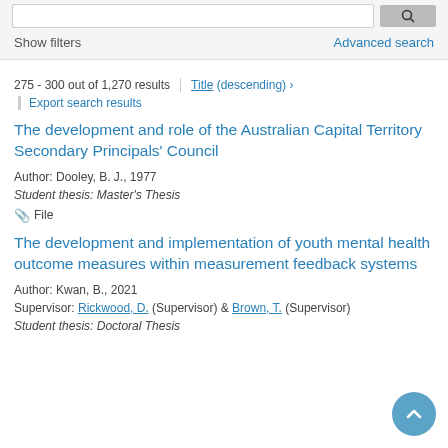Show filters | Advanced search
275 - 300 out of 1,270 results | Title (descending) ›
Export search results
The development and role of the Australian Capital Territory Secondary Principals' Council
Author: Dooley, B. J., 1977
Student thesis: Master's Thesis
📎 File
The development and implementation of youth mental health outcome measures within measurement feedback systems
Author: Kwan, B., 2021
Supervisor: Rickwood, D. (Supervisor) & Brown, T. (Supervisor)
Student thesis: Doctoral Thesis